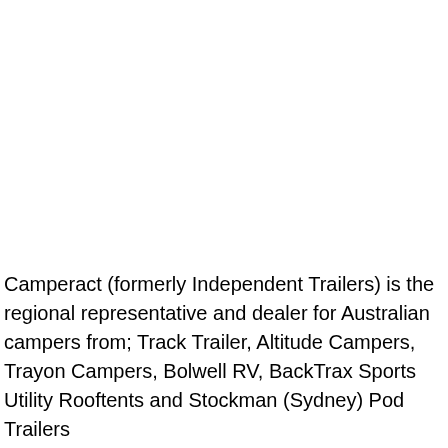Camperact (formerly Independent Trailers) is the regional representative and dealer for Australian campers from; Track Trailer, Altitude Campers, Trayon Campers, Bolwell RV, BackTrax Sports Utility Rooftents and Stockman (Sydney) Pod Trailers